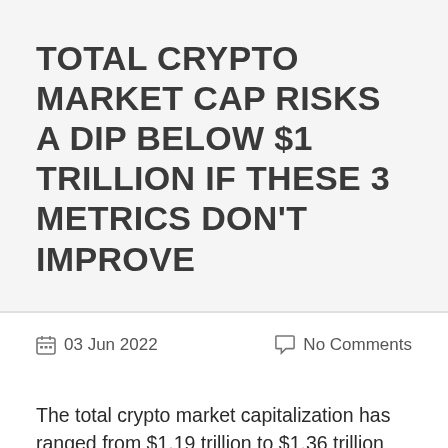TOTAL CRYPTO MARKET CAP RISKS A DIP BELOW $1 TRILLION IF THESE 3 METRICS DON'T IMPROVE
03 Jun 2022   No Comments
The total crypto market capitalization has ranged from $1.19 trillion to $1.36 trillion for the past 23 days, which is a relatively tight 13% range